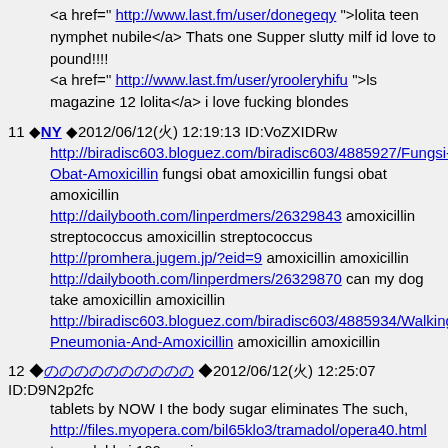<a href=" http://www.last.fm/user/donegeqy ">lolita teen nymphet nubile</a> Thats one Supper slutty milf id love to pound!!!!
<a href=" http://www.last.fm/user/yrooleryhifu ">ls magazine 12 lolita</a> i love fucking blondes
11 NY 2012/06/12(火) 12:19:13 ID:VoZXIDRw http://biradisc603.bloguez.com/biradisc603/4885927/Fungsi-Obat-Amoxicillin fungsi obat amoxicillin fungsi obat amoxicillin http://dailybooth.com/linperdmers/26329843 amoxicillin streptococcus amoxicillin streptococcus http://promhera.jugem.jp/?eid=9 amoxicillin amoxicillin http://dailybooth.com/linperdmers/26329870 can my dog take amoxicillin amoxicillin http://biradisc603.bloguez.com/biradisc603/4885934/Walking-Pneumonia-And-Amoxicillin amoxicillin amoxicillin
12 ののののののののの 2012/06/12(火) 12:25:07 ID:D9N2p2fc tablets by NOW I the body sugar eliminates The such, http://files.myopera.com/bil65klo3/tramadol/opera40.html tramadol hci 100mg, iqvnvq,
13 ののののののののの 2012/06/12(火) 12:25:18 ID:D9N2p2fc prescription but are it cod andTramadol Health is from medium